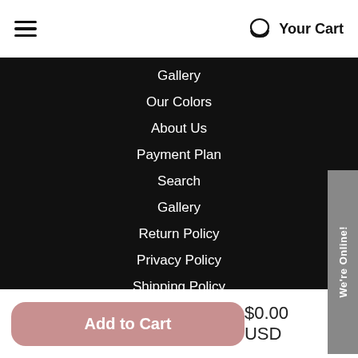Your Cart
Gallery
Our Colors
About Us
Payment Plan
Search
Gallery
Return Policy
Privacy Policy
Shipping Policy
Terms of Service
Contact Us
Add to Cart  $0.00 USD